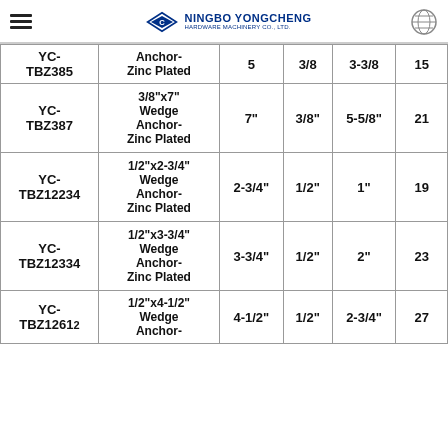Ningbo Yongcheng Hardware Machinery Co., Ltd.
| Item No. | Description | Length | Dia. | Min. Embed | Pcs/Box |
| --- | --- | --- | --- | --- | --- |
| YC-TBZ385 | Anchor-Zinc Plated | 5 | 3/8" | 3-3/8" | 15 |
| YC-TBZ387 | 3/8"x7" Wedge Anchor-Zinc Plated | 7" | 3/8" | 5-5/8" | 21 |
| YC-TBZ12234 | 1/2"x2-3/4" Wedge Anchor-Zinc Plated | 2-3/4" | 1/2" | 1" | 19 |
| YC-TBZ12334 | 1/2"x3-3/4" Wedge Anchor-Zinc Plated | 3-3/4" | 1/2" | 2" | 23 |
| YC-TBZ12612 | 1/2"x4-1/2" Wedge Anchor-... | 4-1/2" | 1/2" | 2-3/4" | 27 |